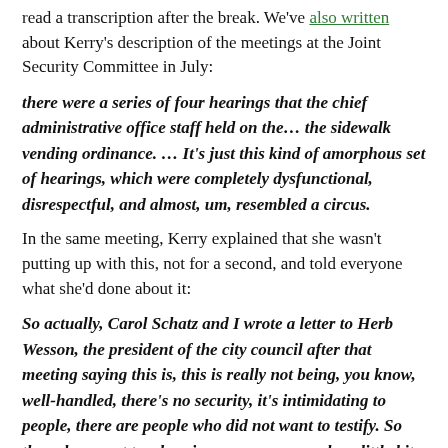read a transcription after the break. We've also written about Kerry's description of the meetings at the Joint Security Committee in July:
there were a series of four hearings that the chief administrative office staff held on the... the sidewalk vending ordinance. ... It's just this kind of amorphous set of hearings, which were completely dysfunctional, disrespectful, and almost, um, resembled a circus.
In the same meeting, Kerry explained that she wasn't putting up with this, not for a second, and told everyone what she'd done about it:
So actually, Carol Schatz and I wrote a letter to Herb Wesson, the president of the city council after that meeting saying this is, this is really not being, you know, well-handled, there's no security, it's intimidating to people, there are people who did not want to testify. So the subsequent two hearings were, um, maybe a little bit more well-behaved.